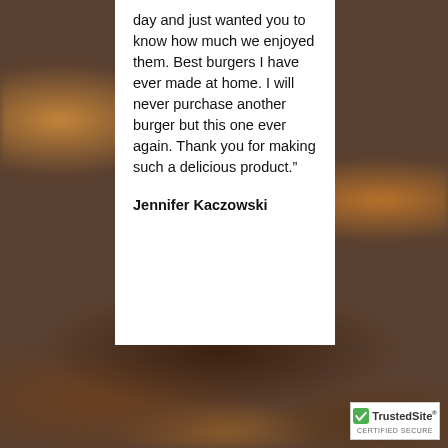[Figure (photo): Blurred background photo of a burger/hamburger]
day and just wanted you to know how much we enjoyed them. Best burgers I have ever made at home. I will never purchase another burger but this one ever again. Thank you for making such a delicious product.”
Jennifer Kaczowski
[Figure (logo): TrustedSite Certified Secure badge with green checkmark]